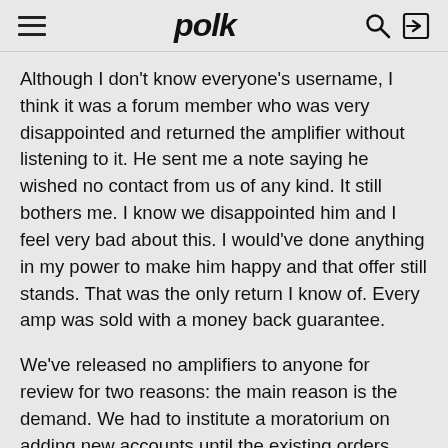polk
Although I don't know everyone's username, I think it was a forum member who was very disappointed and returned the amplifier without listening to it. He sent me a note saying he wished no contact from us of any kind. It still bothers me. I know we disappointed him and I feel very bad about this. I would've done anything in my power to make him happy and that offer still stands. That was the only return I know of. Every amp was sold with a money back guarantee.
We've released no amplifiers to anyone for review for two reasons: the main reason is the demand. We had to institute a moratorium on adding new accounts until the existing orders were filled. It would be immoral for us to seek more business at the expense of the dealers who were patiently waiting, not to mention their clients, while I would be putting on dealers all over the country due the